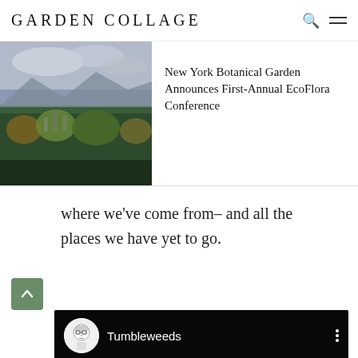GARDEN COLLAGE
[Figure (screenshot): Article card showing aerial/landscape photo of forest and cityscape with mountains, next to article title 'New York Botanical Garden Announces First-Annual EcoFlora Conference']
where we've come from– and all the places we have yet to go.
[Figure (screenshot): Embedded video player with dark background showing 'Tumbleweeds' channel with cartoon avatar, three-dot menu, and play button in center]
[Figure (other): Back to top button - green square with upward arrow]